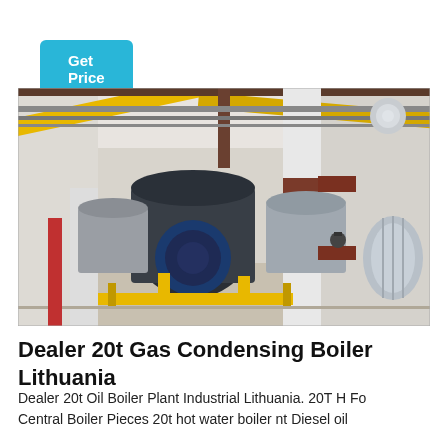Get Price
[Figure (photo): Industrial boiler room with large cylindrical gas boilers, yellow pipes, white structural columns, and metalwork infrastructure]
Dealer 20t Gas Condensing Boiler Lithuania
Dealer 20t Oil Boiler Plant Industrial Lithuania. 20T H Fo Central Boiler Pieces 20t hot water boiler nt Diesel oil